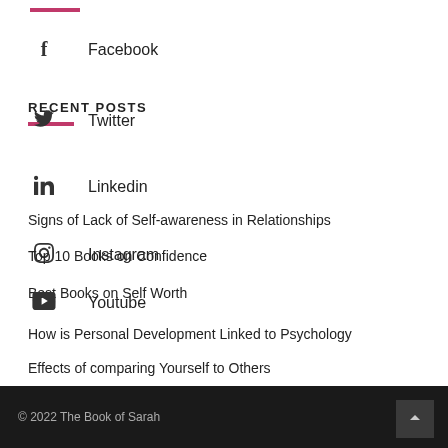Facebook
RECENT POSTS
Twitter
Linkedin
Signs of Lack of Self-awareness in Relationships
Instagram
Top 10 Books on Confidence
Best Books on Self Worth
Youtube
How is Personal Development Linked to Psychology
Effects of comparing Yourself to Others
© 2022 The Book of Sarah